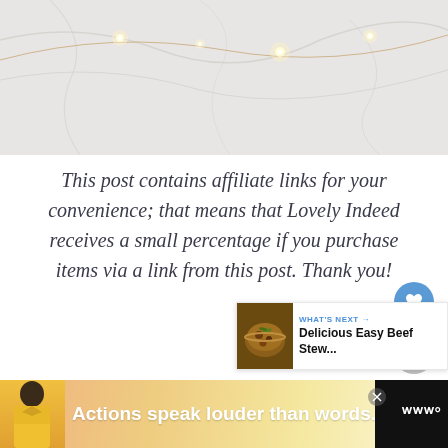[Figure (photo): Marble surface with fairy lights/string lights draped across it, light and elegant aesthetic]
This post contains affiliate links for your convenience; that means that Lovely Indeed receives a small percentage if you purchase items via a link from this post. Thank you!
[Figure (infographic): Blue circular heart/like button icon]
[Figure (infographic): Gray circular share button icon]
[Figure (infographic): WHAT'S NEXT → Delicious Easy Beef Stew... with bowl of stew thumbnail image]
[Figure (infographic): Advertisement bar at bottom: person in yellow jacket, text 'Actions speak louder than words.' with Mastercard wordmark logo]